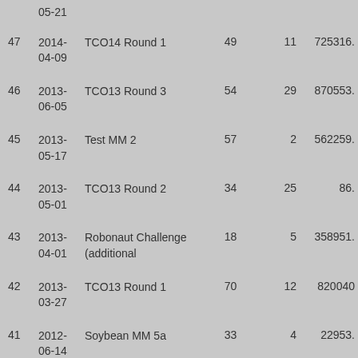| # | Date | Name | Col4 | Col5 | Col6 |
| --- | --- | --- | --- | --- | --- |
|  | 05-21 |  |  |  |  |
| 47 | 2014-04-09 | TCO14 Round 1 | 49 | 11 | 725316. |
| 46 | 2013-06-05 | TCO13 Round 3 | 54 | 29 | 870553. |
| 45 | 2013-05-17 | Test MM 2 | 57 | 2 | 562259. |
| 44 | 2013-05-01 | TCO13 Round 2 | 34 | 25 | 86. |
| 43 | 2013-04-01 | Robonaut Challenge (additional | 18 | 5 | 358951. |
| 42 | 2013-03-27 | TCO13 Round 1 | 70 | 12 | 820040 |
| 41 | 2012-06-14 | Soybean MM 5a | 33 | 4 | 22953. |
| 40 | 2012-05-30 | TCO12 Round 3 | 75 | 28 | 8530. |
| 39 | 2012- | Treephaser | 25 | 7 | 652281 |